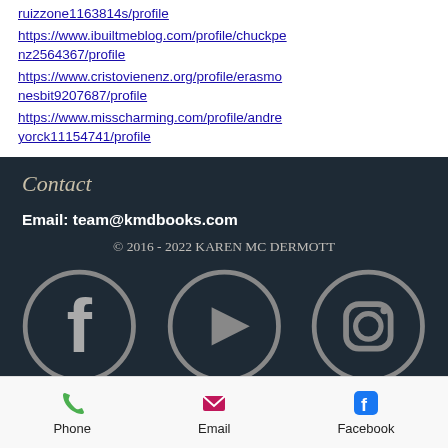ruizzone1163814s/profile https://www.ibuiltmeblog.com/profile/chuckpenz2564367/profile https://www.cristovienenz.org/profile/erasmonesbit9207687/profile https://www.misscharming.com/profile/andreyorck11154741/profile
Contact
Email: team@kmdbooks.com
© 2016 - 2022 Karen MC derMOTT
[Figure (infographic): Social media icons: Facebook, YouTube, Instagram]
Phone   Email   Facebook